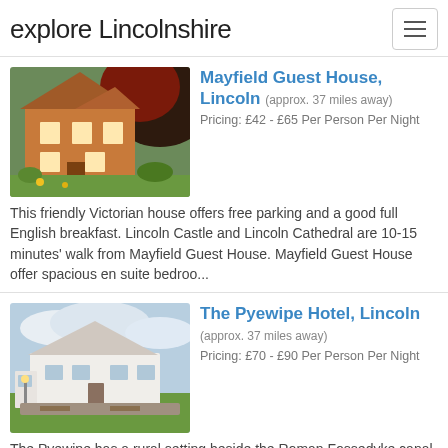explore Lincolnshire
Mayfield Guest House, Lincoln (approx. 37 miles away)
Pricing: £42 - £65 Per Person Per Night
[Figure (photo): Victorian brick house with red and green trees in foreground]
This friendly Victorian house offers free parking and a good full English breakfast. Lincoln Castle and Lincoln Cathedral are 10-15 minutes' walk from Mayfield Guest House. Mayfield Guest House offer spacious en suite bedroo...
The Pyewipe Hotel, Lincoln (approx. 37 miles away)
Pricing: £70 - £90 Per Person Per Night
[Figure (photo): White country hotel building with garden and cloudy sky]
The Pyewipe has a rural setting beside the Roman Fossedyke canal, with views of the cathedral and castle. It is a 20-minute walk from the city centre and the historic quarter